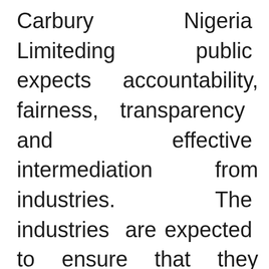Carbury Nigeria Limiteding public expects accountability, fairness, transparency and effective intermediation from industries. The industries are expected to ensure that they carry out their responsibilities with sincerity of purpose which is devoid of fraudulent practices. This is relevant if